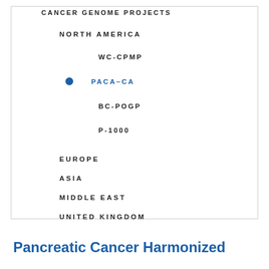CANCER GENOME PROJECTS
NORTH AMERICA
WC-CPMP
PACA-CA
BC-POGP
P-1000
EUROPE
ASIA
MIDDLE EAST
UNITED KINGDOM
Pancreatic Cancer Harmonized